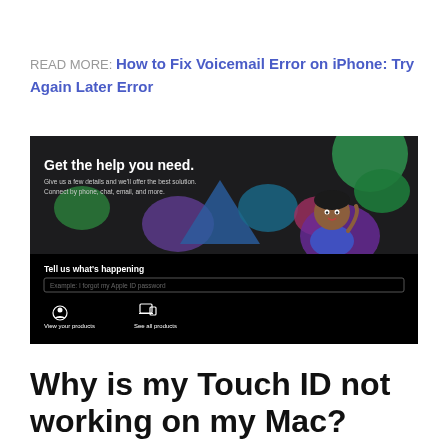READ MORE: How to Fix Voicemail Error on iPhone: Try Again Later Error
[Figure (screenshot): Apple Support page screenshot showing 'Get the help you need.' banner with a 3D avatar, colorful speech bubble shapes, a 'Tell us what's happening' text field, and icons for 'View your products' and 'See all products'.]
Why is my Touch ID not working on my Mac?